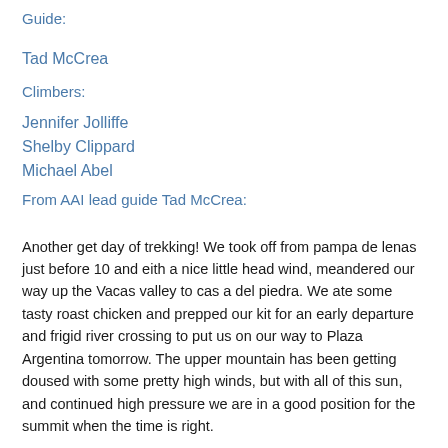Guide:
Tad McCrea
Climbers:
Jennifer Jolliffe
Shelby Clippard
Michael Abel
From AAI lead guide Tad McCrea:
Another get day of trekking! We took off from pampa de lenas just before 10 and eith a nice little head wind, meandered our way up the Vacas valley to cas a del piedra. We ate some tasty roast chicken and prepped our kit for an early departure and frigid river crossing to put us on our way to Plaza Argentina tomorrow. The upper mountain has been getting doused with some pretty high winds, but with all of this sun, and continued high pressure we are in a good position for the summit when the time is right.